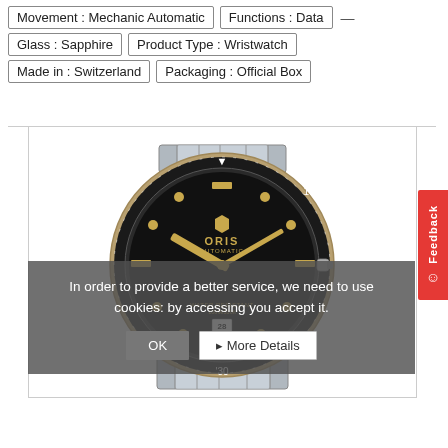Movement : Mechanic Automatic
Functions : Data
Glass : Sapphire
Product Type : Wristwatch
Made in : Switzerland
Packaging : Official Box
[Figure (photo): Oris Automatic diver's wristwatch with black dial, gold-tone hands and hour markers, rotating black bezel with gold-tone ring, stainless steel bracelet, and crown at 3 o'clock. Text on dial: ORIS AUTOMATIC, WATER RESISTANT 1004ft/100M, SWISS MADE. Date window at 6 o'clock.]
In order to provide a better service, we need to use cookies: by accessing you accept it.